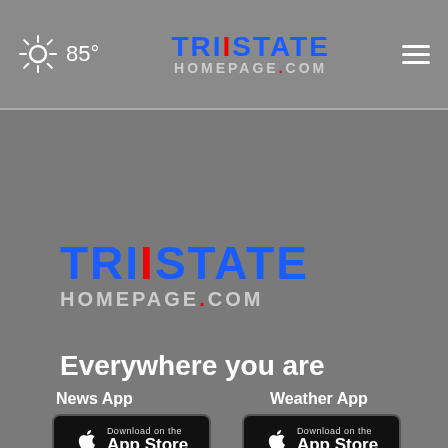85° TristateHomepage.com
[Figure (logo): Tristate Homepage.com logo large]
Everywhere you are
Follow Us
[Figure (infographic): Social media icons: Facebook, Twitter, YouTube, Email]
News App
[Figure (other): Download on the App Store button for News App]
Weather App
[Figure (other): Download on the App Store button for Weather App]